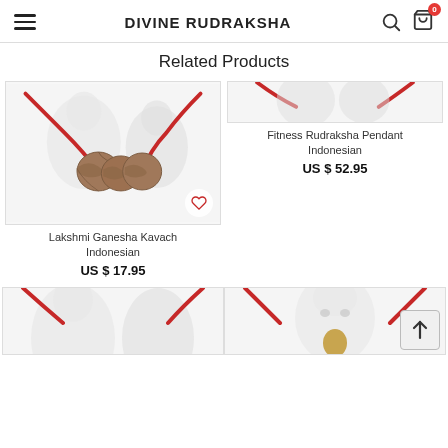DIVINE RUDRAKSHA
Related Products
[Figure (photo): Lakshmi Ganesha Kavach Indonesian product image showing rudraksha beads on red string with deity statue background]
Lakshmi Ganesha Kavach
Indonesian
US $ 17.95
[Figure (photo): Fitness Rudraksha Pendant Indonesian product image placeholder (top portion visible)]
Fitness Rudraksha Pendant
Indonesian
US $ 52.95
[Figure (photo): Bottom left product image showing red string rudraksha with deity statue background (partially visible)]
[Figure (photo): Bottom right product image showing red string rudraksha with Durga deity pendant (partially visible)]